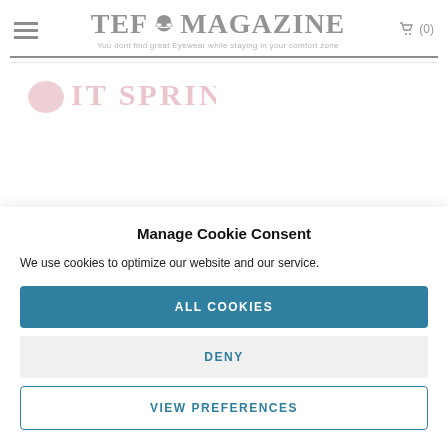TEF MAGAZINE — You dont find great Eyewear while staying in your comfort zone
[Figure (screenshot): Partially visible page background showing a pink/red logo text behind the cookie consent modal overlay]
Manage Cookie Consent
We use cookies to optimize our website and our service.
ALL COOKIES
DENY
VIEW PREFERENCES